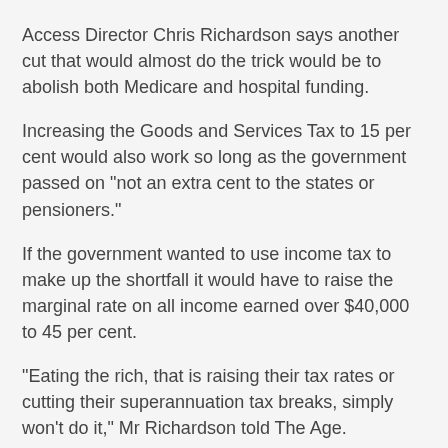Access Director Chris Richardson says another cut that would almost do the trick would be to abolish both Medicare and hospital funding.
Increasing the Goods and Services Tax to 15 per cent would also work so long as the government passed on "not an extra cent to the states or pensioners."
If the government wanted to use income tax to make up the shortfall it would have to raise the marginal rate on all income earned over $40,000 to 45 per cent.
"Eating the rich, that is raising their tax rates or cutting their superannuation tax breaks, simply won't do it," Mr Richardson told The Age.
"It won't happen until middle Australia feels plenty of pain."
Asked whether the Budget might remain in deficit until the 2020s rather than 1015-16 as the Budget will project, Mr Richardson said that was what would happen unless both